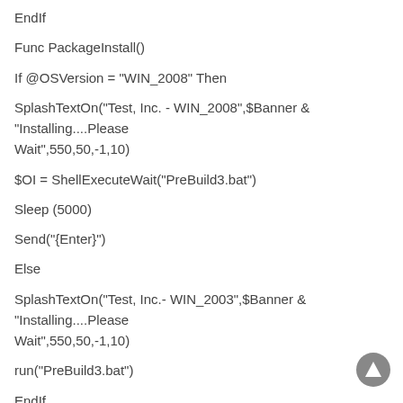EndIf

Func PackageInstall()

If @OSVersion = "WIN_2008" Then

SplashTextOn("Test, Inc. - WIN_2008",$Banner & "Installing....Please Wait",550,50,-1,10)

$OI = ShellExecuteWait("PreBuild3.bat")

Sleep (5000)

Send("{Enter}")

Else

SplashTextOn("Test, Inc.- WIN_2003",$Banner & "Installing....Please Wait",550,50,-1,10)

run("PreBuild3.bat")

EndIf

EndFunc